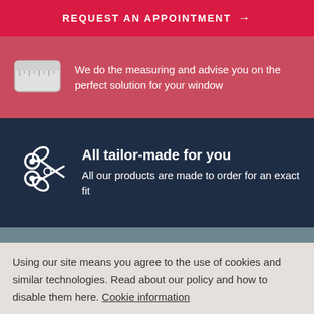REQUEST AN APPOINTMENT →
We do the measuring and advise you on the perfect solution for your window
All tailor-made for you
All our products are made to order for an exact fit
Using our site means you agree to the use of cookies and similar technologies. Read about our policy and how to disable them here. Cookie information
CLOSE